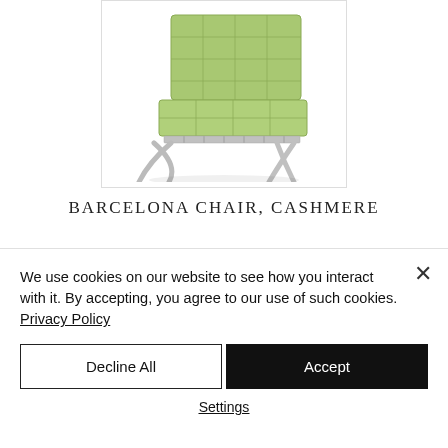[Figure (photo): A Barcelona chair in light green/cashmere upholstery with chrome X-frame base, shown on white background]
BARCELONA CHAIR, CASHMERE
[Figure (photo): Partial view of a second product image cropped by cookie banner, showing a dark rectangular shape]
We use cookies on our website to see how you interact with it. By accepting, you agree to our use of such cookies. Privacy Policy
Decline All
Accept
Settings